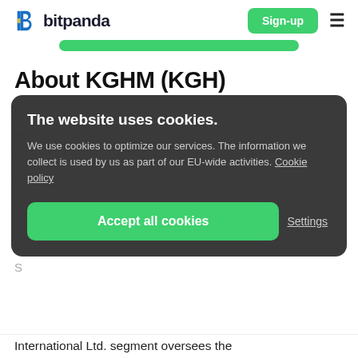bitpanda — Sign-up
[Figure (logo): Bitpanda logo with stylized B icon in blue and yellow, and wordmark 'bitpanda' in dark text. Sign-up green button and hamburger menu icon on the right.]
About KGHM (KGH)
[Figure (screenshot): Cookie consent overlay on dark semi-transparent background with title 'The website uses cookies.', body text 'We use cookies to optimize our services. The information we collect is used by us as part of our EU-wide activities. Cookie policy', an 'Accept all cookies' green button, and a 'Settings' link.]
International Ltd. segment oversees the